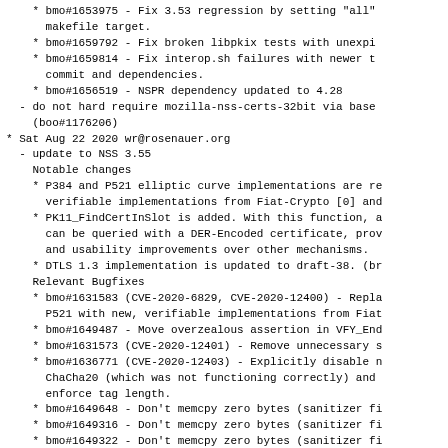* bmo#1653975 - Fix 3.53 regression by setting "all"
      makefile target.
* bmo#1659792 - Fix broken libpkix tests with unexpi
* bmo#1659814 - Fix interop.sh failures with newer t
      commit and dependencies.
* bmo#1656519 - NSPR dependency updated to 4.28
- do not hard require mozilla-nss-certs-32bit via base
    (boo#1176206)
* Sat Aug 22 2020 wr@rosenauer.org
- update to NSS 3.55
    Notable changes
* P384 and P521 elliptic curve implementations are re
      verifiable implementations from Fiat-Crypto [0] and
* PK11_FindCertInSlot is added. With this function, a
      can be queried with a DER-Encoded certificate, prov
      and usability improvements over other mechanisms.
* DTLS 1.3 implementation is updated to draft-38. (br
Relevant Bugfixes
* bmo#1631583 (CVE-2020-6829, CVE-2020-12400) - Repla
      P521 with new, verifiable implementations from Fiat
* bmo#1649487 - Move overzealous assertion in VFY_End
* bmo#1631573 (CVE-2020-12401) - Remove unnecessary s
* bmo#1636771 (CVE-2020-12403) - Explicitly disable n
      ChaCha20 (which was not functioning correctly) and
      enforce tag length.
* bmo#1649648 - Don't memcpy zero bytes (sanitizer fi
* bmo#1649316 - Don't memcpy zero bytes (sanitizer fi
* bmo#1649322 - Don't memcpy zero bytes (sanitizer fi
* bmo#1653202 - Fix initialization bug in blapitest w
      with NSS DISABLE DEPRECATED SEED.